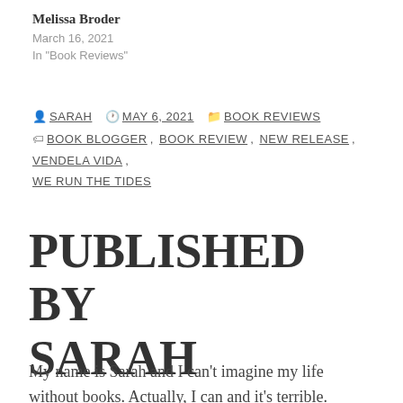Melissa Broder
March 16, 2021
In "Book Reviews"
By SARAH  MAY 6, 2021  BOOK REVIEWS
BOOK BLOGGER, BOOK REVIEW, NEW RELEASE, VENDELA VIDA, WE RUN THE TIDES
PUBLISHED BY SARAH
My name is Sarah and I can't imagine my life without books. Actually, I can and it's terrible.